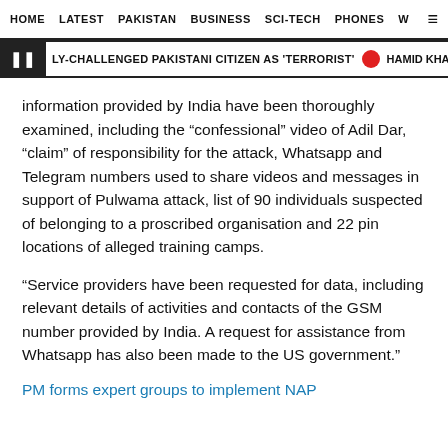HOME   LATEST   PAKISTAN   BUSINESS   SCI-TECH   PHONES   W
LY-CHALLENGED PAKISTANI CITIZEN AS 'TERRORIST'   HAMID KHAN TO REPRESEN
information provided by India have been thoroughly examined, including the “confessional” video of Adil Dar, “claim” of responsibility for the attack, Whatsapp and Telegram numbers used to share videos and messages in support of Pulwama attack, list of 90 individuals suspected of belonging to a proscribed organisation and 22 pin locations of alleged training camps.
“Service providers have been requested for data, including relevant details of activities and contacts of the GSM number provided by India. A request for assistance from Whatsapp has also been made to the US government.”
PM forms expert groups to implement NAP